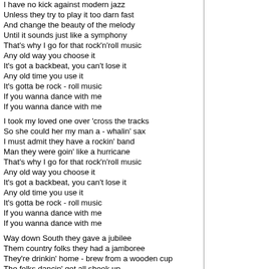I have no kick against modern jazz
Unless they try to play it too darn fast
And change the beauty of the melody
Until it sounds just like a symphony
That's why I go for that rock'n'roll music
Any old way you choose it
It's got a backbeat, you can't lose it
Any old time you use it
It's gotta be rock - roll music
If you wanna dance with me
If you wanna dance with me

I took my loved one over 'cross the tracks
So she could her my man a - whalin' sax
I must admit they have a rockin' band
Man they were goin' like a hurricane
That's why I go for that rock'n'roll music
Any old way you choose it
It's got a backbeat, you can't lose it
Any old time you use it
It's gotta be rock - roll music
If you wanna dance with me
If you wanna dance with me

Way down South they gave a jubilee
Them country folks they had a jamboree
They're drinkin' home - brew from a wooden cup
The folks dancin' got all shook up
And started playin' that rock'n'roll music